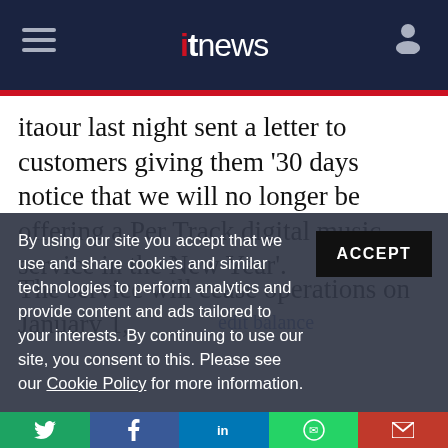itnews
itaour last night sent a letter to customers giving them '30 days notice that we will no longer be offering a Per Track digital music service in the New Year'.
The service will cease operations on January 1,
By using our site you accept that we use and share cookies and similar technologies to perform analytics and provide content and ads tailored to your interests. By continuing to use our site, you consent to this. Please see our Cookie Policy for more information.